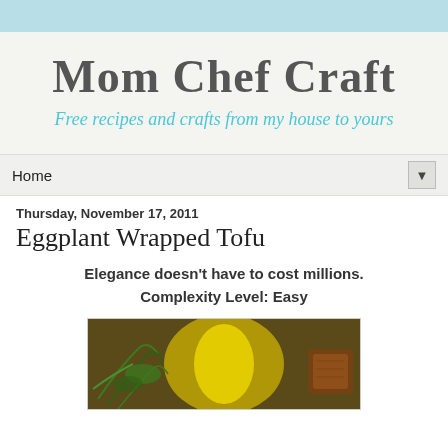Mom Chef Craft
Free recipes and crafts from my house to yours
Home
Thursday, November 17, 2011
Eggplant Wrapped Tofu
Elegance doesn't have to cost millions.
Complexity Level:  Easy
[Figure (photo): Photo of eggplant wrapped tofu dish with green garnish and yellow elements]